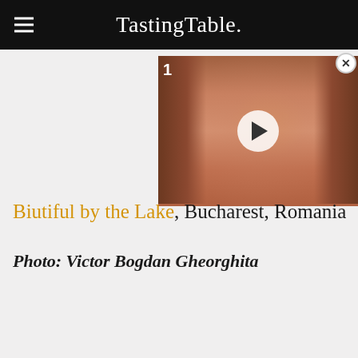TastingTable.
[Figure (photo): Video thumbnail showing a woman with curly brown hair smiling, with a white play button overlay in the center and a close (X) button in the top-right corner. A number '1' is visible at the top-left of the thumbnail.]
Biutiful by the Lake, Bucharest, Romania
Photo: Victor Bogdan Gheorghita